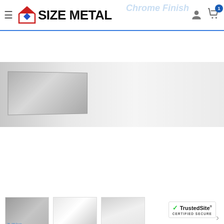[Figure (screenshot): Size Metal website header with logo (house icon + SIZE METAL text), hamburger menu, user icon, cart icon with badge 1, and watermark text Chrome Finish]
[Figure (photo): Main product image of stainless steel sheet with chrome finish on light grey background]
[Figure (photo): Thumbnail row with three product images of stainless steel sheets and a right arrow navigation]
[Figure (screenshot): YouTube video embed showing Stainless Steel Sheets Overview by... with dark background showing black plastic-wrapped metal sheet]
[Figure (logo): TrustedSite CERTIFIED SECURE badge in bottom right corner]